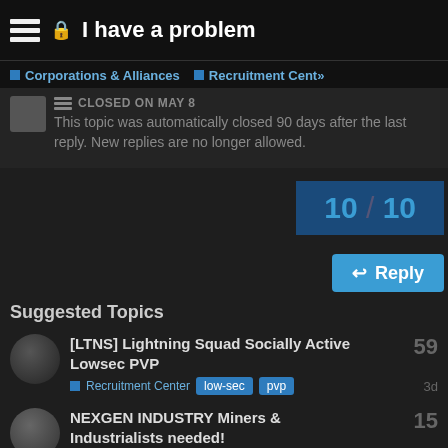I have a problem
Corporations & Alliances  Recruitment Center
CLOSED ON MAY 8
This topic was automatically closed 90 days after the last reply. New replies are no longer allowed.
10 / 10
Reply
Suggested Topics
[LTNS] Lightning Squad Socially Active Lowsec PVP
Recruitment Center  low-sec  pvp  3d  59
NEXGEN INDUSTRY Miners & Industrialists needed!
Recruitment Center  26d  15
Inevitable Outcome - WH PVP CORP  74